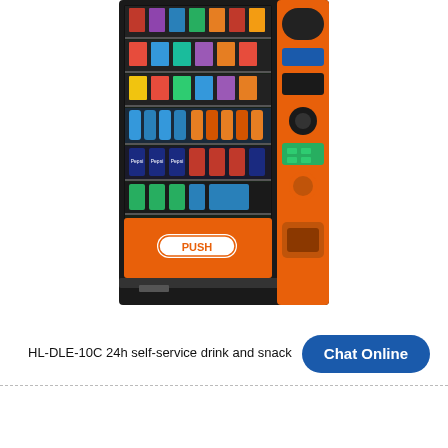[Figure (photo): A black and orange vending machine (HL-DLE-10C) stocked with snacks, beverages, and canned drinks on multiple shelves. The machine has a 'PUSH' door handle and an orange control panel on the right side.]
HL-DLE-10C 24h self-service drink and snack